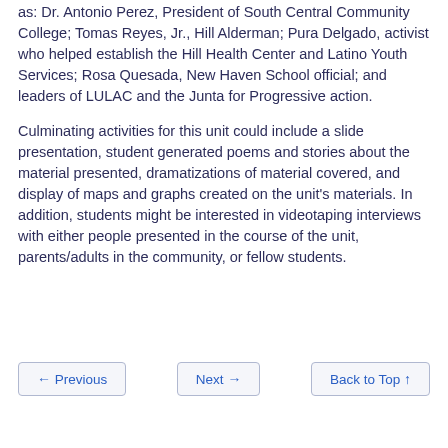as: Dr. Antonio Perez, President of South Central Community College; Tomas Reyes, Jr., Hill Alderman; Pura Delgado, activist who helped establish the Hill Health Center and Latino Youth Services; Rosa Quesada, New Haven School official; and leaders of LULAC and the Junta for Progressive action.
Culminating activities for this unit could include a slide presentation, student generated poems and stories about the material presented, dramatizations of material covered, and display of maps and graphs created on the unit's materials. In addition, students might be interested in videotaping interviews with either people presented in the course of the unit, parents/adults in the community, or fellow students.
← Previous   Next →   Back to Top ↑